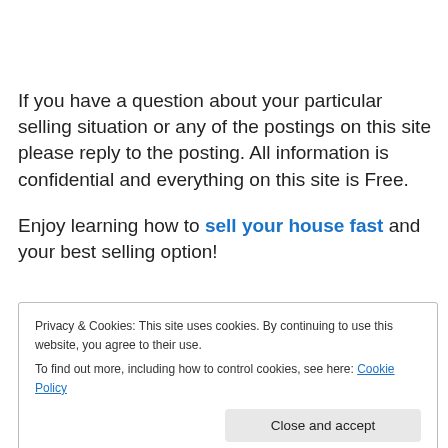If you have a question about your particular selling situation or any of the postings on this site please reply to the posting. All information is confidential and everything on this site is Free.
Enjoy learning how to sell your house fast and your best selling option!
Privacy & Cookies: This site uses cookies. By continuing to use this website, you agree to their use. To find out more, including how to control cookies, see here: Cookie Policy
Close and accept